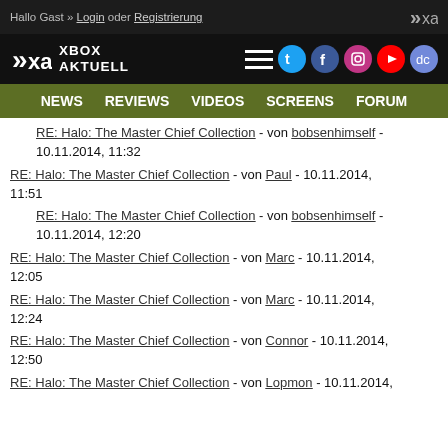Hallo Gast » Login oder Registrierung
[Figure (logo): Xbox Aktuell logo with XA icon]
NEWS  REVIEWS  VIDEOS  SCREENS  FORUM
RE: Halo: The Master Chief Collection - von bobsenhimself - 10.11.2014, 11:32
RE: Halo: The Master Chief Collection - von Paul - 10.11.2014, 11:51
RE: Halo: The Master Chief Collection - von bobsenhimself - 10.11.2014, 12:20
RE: Halo: The Master Chief Collection - von Marc - 10.11.2014, 12:05
RE: Halo: The Master Chief Collection - von Marc - 10.11.2014, 12:24
RE: Halo: The Master Chief Collection - von Connor - 10.11.2014, 12:50
RE: Halo: The Master Chief Collection - von Lopmon - 10.11.2014,